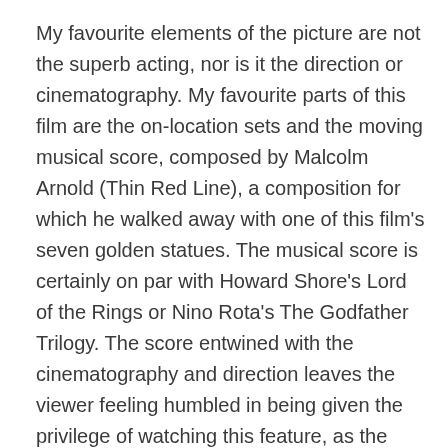My favourite elements of the picture are not the superb acting, nor is it the direction or cinematography. My favourite parts of this film are the on-location sets and the moving musical score, composed by Malcolm Arnold (Thin Red Line), a composition for which he walked away with one of this film's seven golden statues. The musical score is certainly on par with Howard Shore's Lord of the Rings or Nino Rota's The Godfather Trilogy. The score entwined with the cinematography and direction leaves the viewer feeling humbled in being given the privilege of watching this feature, as the viewer grows to care about the characters and their plights.